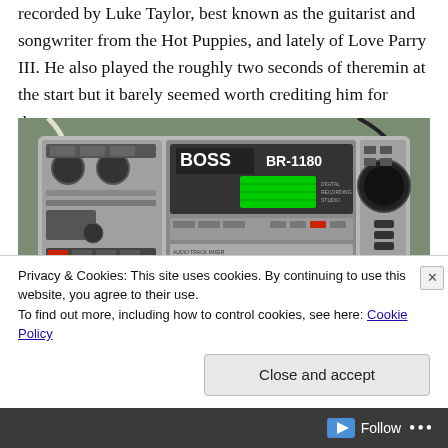recorded by Luke Taylor, best known as the guitarist and songwriter from the Hot Puppies, and lately of Love Parry III. He also played the roughly two seconds of theremin at the start but it barely seemed worth crediting him for that...
[Figure (photo): Photo of a BOSS BR-1180 digital recording studio multitrack recorder with green LCD display, knobs, faders, and buttons, placed on a green carpet.]
Privacy & Cookies: This site uses cookies. By continuing to use this website, you agree to their use.
To find out more, including how to control cookies, see here: Cookie Policy
Close and accept
Follow ...